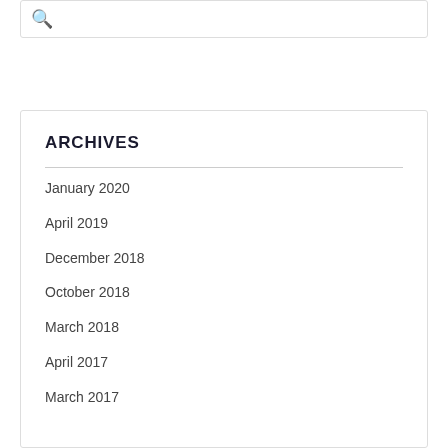[Figure (other): Search box with magnifying glass icon]
ARCHIVES
January 2020
April 2019
December 2018
October 2018
March 2018
April 2017
March 2017